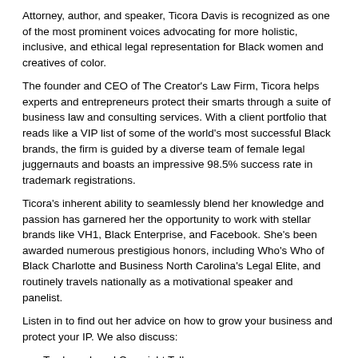Attorney, author, and speaker, Ticora Davis is recognized as one of the most prominent voices advocating for more holistic, inclusive, and ethical legal representation for Black women and creatives of color.
The founder and CEO of The Creator's Law Firm, Ticora helps experts and entrepreneurs protect their smarts through a suite of business law and consulting services. With a client portfolio that reads like a VIP list of some of the world's most successful Black brands, the firm is guided by a diverse team of female legal juggernauts and boasts an impressive 98.5% success rate in trademark registrations.
Ticora's inherent ability to seamlessly blend her knowledge and passion has garnered her the opportunity to work with stellar brands like VH1, Black Enterprise, and Facebook. She's been awarded numerous prestigious honors, including Who's Who of Black Charlotte and Business North Carolina's Legal Elite, and routinely travels nationally as a motivational speaker and panelist.
Listen in to find out her advice on how to grow your business and protect your IP. We also discuss:
Trademark and Copyright Talk
Common Trademark Mistakes Entrepreneurs Make
Wise Company and Wise Council
Two Legal Components Every Business Owner Should Have
For more information, visit the show notes at https://amandaabella.com/intellectual-property-and-trademarking-cya-with-